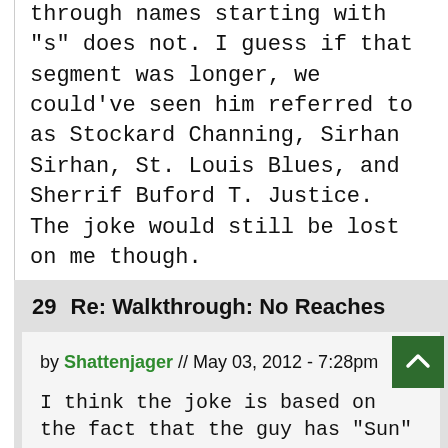through names starting with "s" does not. I guess if that segment was longer, we could've seen him referred to as Stockard Channing, Sirhan Sirhan, St. Louis Blues, and Sherrif Buford T. Justice. The joke would still be lost on me though.
29  Re: Walkthrough: No Reaches
by Shattenjager // May 03, 2012 - 7:28pm
I think the joke is based on the fact that the guy has "Sun" in his name. (I had to look up the guy's name: Tino Sunseri.) Hence Silversun Pickups (Which I also had to look up, incidentally.) and then Soleil Moon Frye.